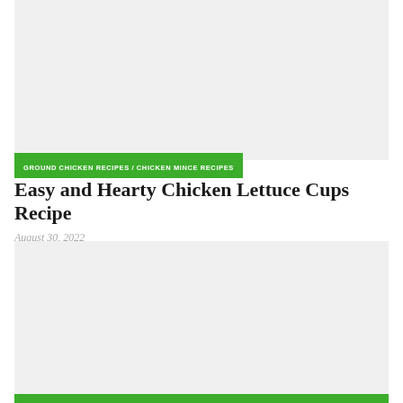[Figure (photo): Top image area placeholder, light gray background]
GROUND CHICKEN RECIPES / CHICKEN MINCE RECIPES
Easy and Hearty Chicken Lettuce Cups Recipe
August 30, 2022
[Figure (photo): Bottom image area placeholder, light gray background]